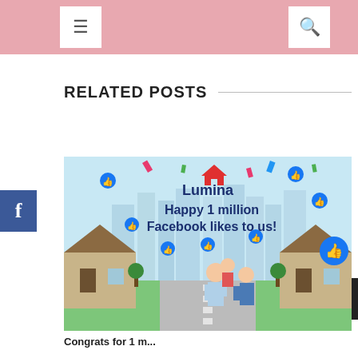Navigation bar with menu and search icons
RELATED POSTS
[Figure (illustration): Lumina Homes promotional image celebrating 1 million Facebook likes. Features the Lumina logo with a house icon, text 'Happy 1 million Facebook likes to us!', Facebook thumbs-up icons, confetti, cityscape silhouette, and a family (man lifting child, woman beside them) in front of house buildings on a green lawn.]
Caption for related post about Lumina 1 million Facebook likes